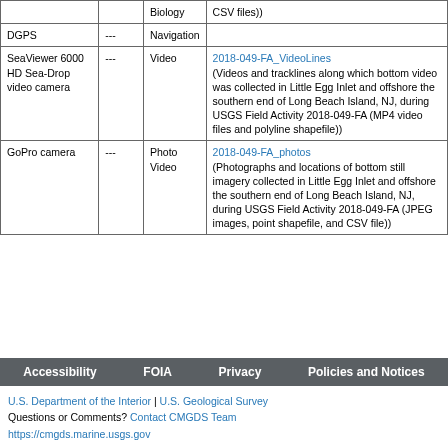|  |  | Biology | CSV files)) |
| --- | --- | --- | --- |
| DGPS | --- | Navigation |  |
| SeaViewer 6000 HD Sea-Drop video camera | --- | Video | 2018-049-FA_VideoLines (Videos and tracklines along which bottom video was collected in Little Egg Inlet and offshore the southern end of Long Beach Island, NJ, during USGS Field Activity 2018-049-FA (MP4 video files and polyline shapefile)) |
| GoPro camera | --- | Photo Video | 2018-049-FA_photos (Photographs and locations of bottom still imagery collected in Little Egg Inlet and offshore the southern end of Long Beach Island, NJ, during USGS Field Activity 2018-049-FA (JPEG images, point shapefile, and CSV file)) |
Accessibility   FOIA   Privacy   Policies and Notices
U.S. Department of the Interior | U.S. Geological Survey
Questions or Comments? Contact CMGDS Team
https://cmgds.marine.usgs.gov